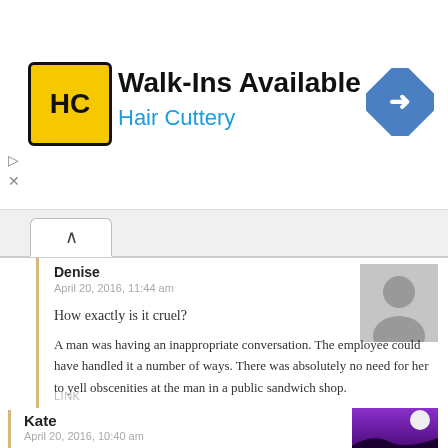[Figure (infographic): Hair Cuttery advertisement banner with logo, 'Walk-Ins Available' text, and a navigation arrow icon]
Denise
April 20, 2016, 11:44 am
How exactly is it cruel?
A man was having an inappropriate conversation. The employee could have handled it a number of ways. There was absolutely no need for her to yell obscenities at the man in a public sandwich shop.
LINK
Kate
April 20, 2016, 10:40 am